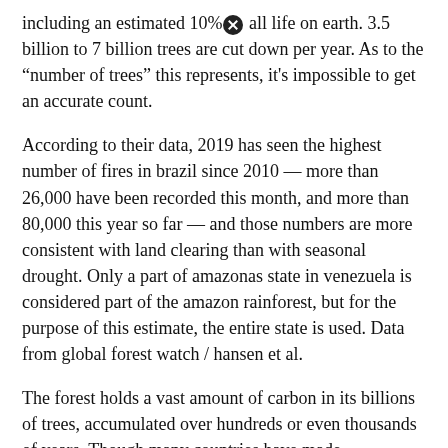including an estimated 10% of all life on earth. 3.5 billion to 7 billion trees are cut down per year. As to the "number of trees" this represents, it's impossible to get an accurate count.
According to their data, 2019 has seen the highest number of fires in brazil since 2010 — more than 26,000 have been recorded this month, and more than 80,000 this year so far — and those numbers are more consistent with land clearing than with seasonal drought. Only a part of amazonas state in venezuela is considered part of the amazon rainforest, but for the purpose of this estimate, the entire state is used. Data from global forest watch / hansen et al.
The forest holds a vast amount of carbon in its billions of trees, accumulated over hundreds or even thousands of years. Though many countries have made commitments to reduce deforestation, key regions that house the world's oldest, most biodiverse forests are trending. As to the "number of trees" this represents, it's impossible to